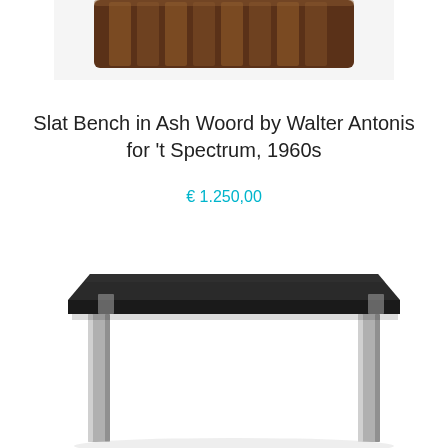[Figure (photo): Partial top view of a wooden slat bench in dark ash wood, showing the slatted back/seat portion, cropped at the top of the page.]
Slat Bench in Ash Woord by Walter Antonis for 't Spectrum, 1960s
€ 1.250,00
[Figure (photo): A square low coffee table with a dark black/dark grey top surface and silver/chrome square metal legs, photographed against a white background.]